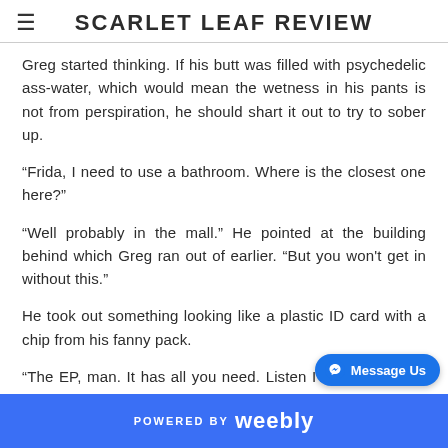SCARLET LEAF REVIEW
Greg started thinking. If his butt was filled with psychedelic ass-water, which would mean the wetness in his pants is not from perspiration, he should shart it out to try to sober up.
“Frida, I need to use a bathroom. Where is the closest one here?”
“Well probably in the mall.” He pointed at the building behind which Greg ran out of earlier. “But you won’t get in without this.”
He took out something looking like a plastic ID card with a chip from his fanny pack.
“The EP, man. It has all you need. Listen I’ll give it to you, but you have to return it back, ok? I’ll stay here for a while if you don’t mind.”
POWERED BY weebly